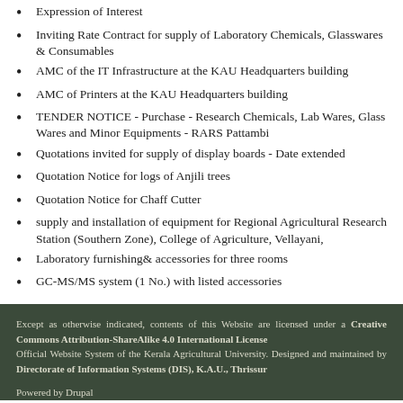Expression of Interest
Inviting Rate Contract for supply of Laboratory Chemicals, Glasswares & Consumables
AMC of the IT Infrastructure at the KAU Headquarters building
AMC of Printers at the KAU Headquarters building
TENDER NOTICE - Purchase - Research Chemicals, Lab Wares, Glass Wares and Minor Equipments - RARS Pattambi
Quotations invited for supply of display boards - Date extended
Quotation Notice for logs of Anjili trees
Quotation Notice for Chaff Cutter
supply and installation of equipment for Regional Agricultural Research Station (Southern Zone), College of Agriculture, Vellayani,
Laboratory furnishing& accessories for three rooms
GC-MS/MS system (1 No.) with listed accessories
Except as otherwise indicated, contents of this Website are licensed under a Creative Commons Attribution-ShareAlike 4.0 International License
Official Website System of the Kerala Agricultural University. Designed and maintained by Directorate of Information Systems (DIS), K.A.U., Thrissur

Powered by Drupal